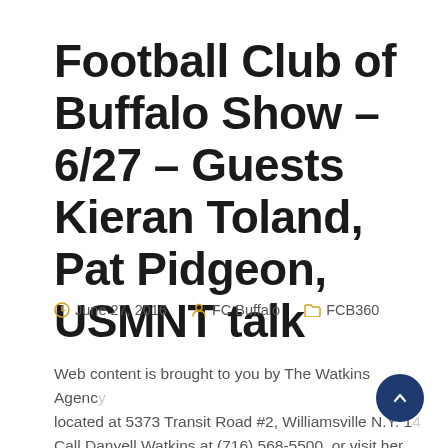Football Club of Buffalo Show – 6/27 – Guests Kieran Toland, Pat Pidgeon, USMNT talk
June 27, 2016   FC Buffalo   FCB360
Web content is brought to you by The Watkins Agency, located at 5373 Transit Road #2, Williamsville N.Y. 1... Call Danyell Watkins at (716) 568-5500, or visit her